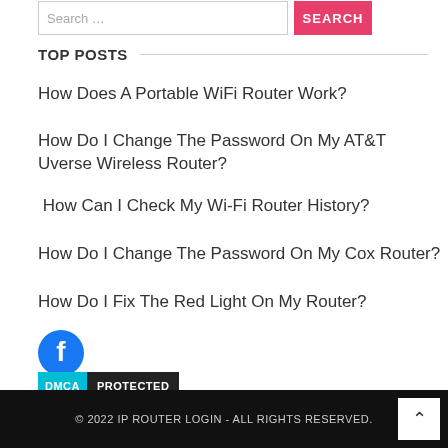[Figure (screenshot): Search bar with text input showing 'Search ...' placeholder and a pink/red SEARCH button]
TOP POSTS
How Does A Portable WiFi Router Work?
How Do I Change The Password On My AT&T Uverse Wireless Router?
How Can I Check My Wi-Fi Router History?
How Do I Change The Password On My Cox Router?
How Do I Fix The Red Light On My Router?
[Figure (logo): Facebook social icon — blue circle with white Facebook 'f' logo]
[Figure (logo): DMCA PROTECTED badge — cyan left side with 'DMCA' text, black right side with 'PROTECTED' text]
© 2022 IP ROUTER LOGIN - ALL RIGHTS RESERVED.